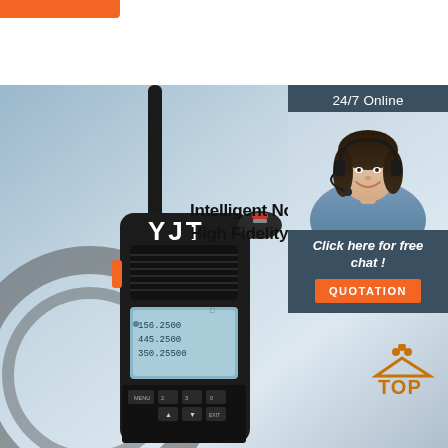[Figure (photo): Orange bar/button in top left corner]
[Figure (photo): YJT brand two-way radio/walkie-talkie device with digital display showing frequencies (156.2500, 445.2500, 350.2500), shown against a blue-grey gradient background with headphones. Text overlay reads 'Intelligent Noise' and 'High Fidelity So' (partially visible).]
Intelligent Noise
High Fidelity So
[Figure (photo): Customer service representative woman with headset smiling, shown in sidebar with '24/7 Online' text above, 'Click here for free chat!' text below, and an orange QUOTATION button.]
24/7 Online
Click here for free chat !
QUOTATION
[Figure (illustration): Orange and grey 'TOP' badge with dots above the text in bottom right corner]